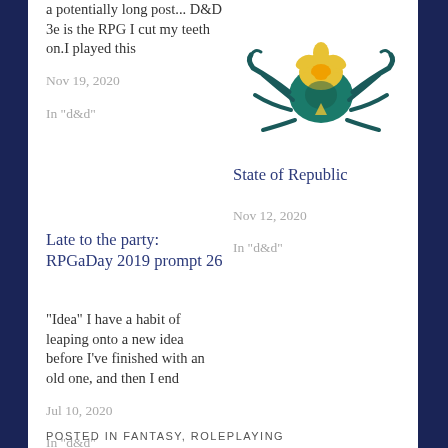a potentially long post... D&D 3e is the RPG I cut my teeth on.I played this
Nov 19, 2020
In "d&d"
[Figure (illustration): Illustration of a teal/blue crab-like creature with yellow flower decorations on its back]
State of Republic
Nov 12, 2020
In "d&d"
Late to the party: RPGaDay 2019 prompt 26
"Idea" I have a habit of leaping onto a new idea before I've finished with an old one, and then I end
Jul 10, 2020
In "d&d"
POSTED IN FANTASY, ROLEPLAYING